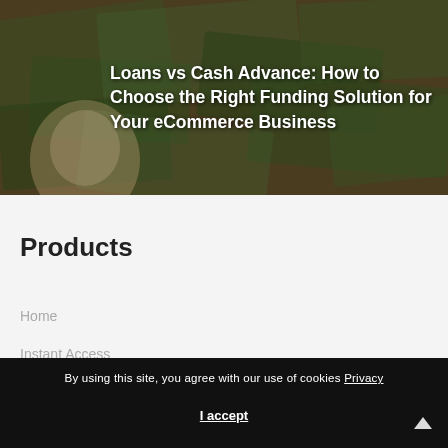[Figure (photo): Background photo of scattered US dollar bills (100s and other denominations) with a dark overlay, serving as hero banner background]
Loans vs Cash Advance: How to Choose the Right Funding Solution for Your eCommerce Business
Products
Home
Instant Access
By using this site, you agree with our use of cookies Privacy
I accept